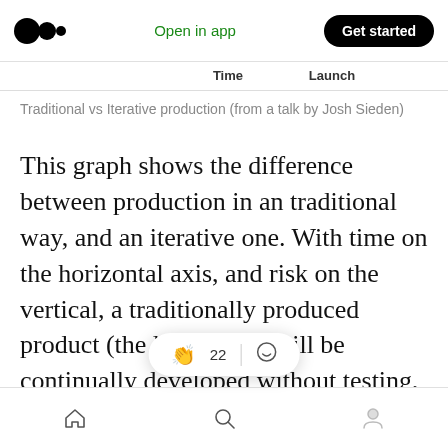Open in app  Get started
Time    Launch
Traditional vs Iterative production (from a talk by Josh Sieden)
This graph shows the difference between production in an traditional way, and an iterative one. With time on the horizontal axis, and risk on the vertical, a traditionally produced product (the line in red) will be continually developed without testing, increasing in risk until it is launched, when it is then discovered whether it solves the issues t'... In the case of a product that is pr... an iterative
Home  Search  Profile